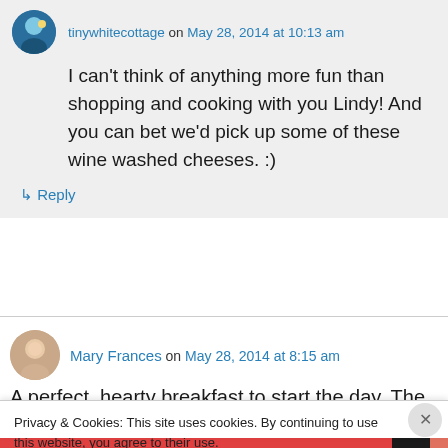tinywhitecottage on May 28, 2014 at 10:13 am
I can't think of anything more fun than shopping and cooking with you Lindy! And you can bet we'd pick up some of these wine washed cheeses. :)
↳ Reply
Mary Frances on May 28, 2014 at 8:15 am
A perfect, hearty breakfast to start the day. The
Privacy & Cookies: This site uses cookies. By continuing to use this website, you agree to their use.
To find out more, including how to control cookies, see here: Cookie Policy
Close and accept